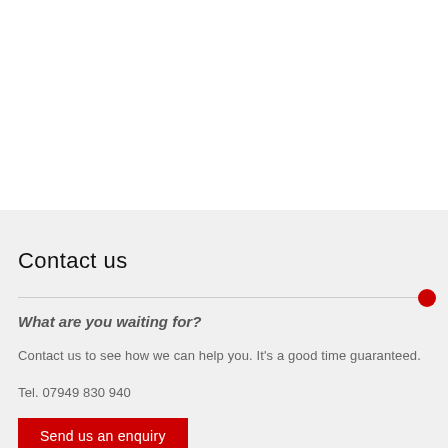Contact us
What are you waiting for?
Contact us to see how we can help you. It's a good time guaranteed.
Tel. 07949 830 940
Send us an enquiry